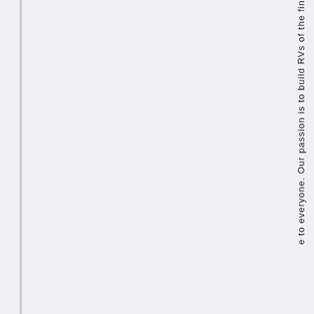e to everyone. Our passion is to build RVs of the fin